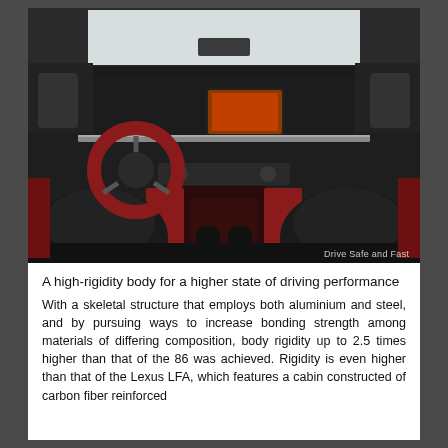[Figure (photo): Interior view of a sports car (Toyota GR Supra) showing black and red leather seats, red steering wheel, center console, digital infotainment screen, and dashboard. Watermark reads 'Drive Safe and Fast'.]
A high-rigidity body for a higher state of driving performance
With a skeletal structure that employs both aluminium and steel, and by pursuing ways to increase bonding strength among materials of differing composition, body rigidity up to 2.5 times higher than that of the 86 was achieved. Rigidity is even higher than that of the Lexus LFA, which features a cabin constructed of carbon fiber reinforced